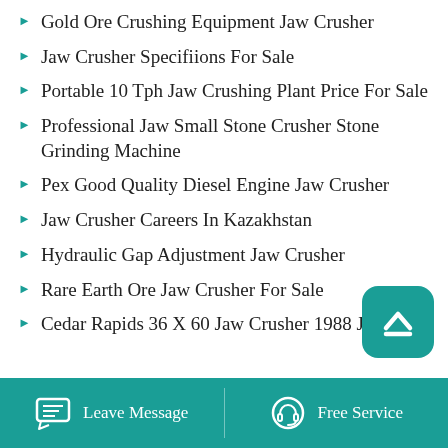Gold Ore Crushing Equipment Jaw Crusher
Jaw Crusher Specifiions For Sale
Portable 10 Tph Jaw Crushing Plant Price For Sale
Professional Jaw Small Stone Crusher Stone Grinding Machine
Pex Good Quality Diesel Engine Jaw Crusher
Jaw Crusher Careers In Kazakhstan
Hydraulic Gap Adjustment Jaw Crusher
Rare Earth Ore Jaw Crusher For Sale
Cedar Rapids 36 X 60 Jaw Crusher 1988 Jaw
Leave Message   Free Service